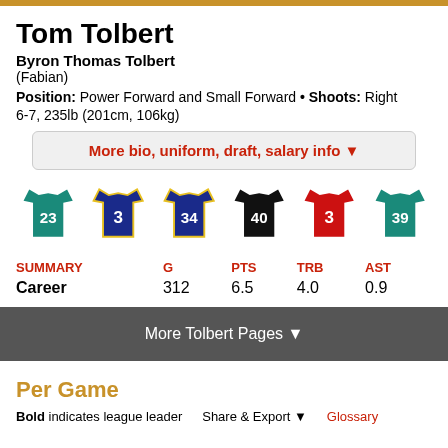Tom Tolbert
Byron Thomas Tolbert
(Fabian)
Position: Power Forward and Small Forward • Shoots: Right
6-7, 235lb (201cm, 106kg)
More bio, uniform, draft, salary info ▼
[Figure (illustration): Six basketball jerseys with numbers 23 (teal), 3 (navy/yellow trim), 34 (navy/yellow trim), 40 (black), 3 (red), 39 (teal)]
| SUMMARY | G | PTS | TRB | AST |
| --- | --- | --- | --- | --- |
| Career | 312 | 6.5 | 4.0 | 0.9 |
More Tolbert Pages ▼
Per Game
Bold indicates league leader   Share & Export ▼   Glossary